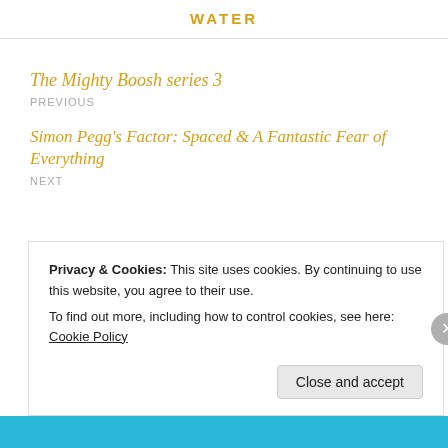WATER
The Mighty Boosh series 3
PREVIOUS
Simon Pegg's Factor: Spaced & A Fantastic Fear of Everything
NEXT
Privacy & Cookies: This site uses cookies. By continuing to use this website, you agree to their use.
To find out more, including how to control cookies, see here: Cookie Policy
Close and accept